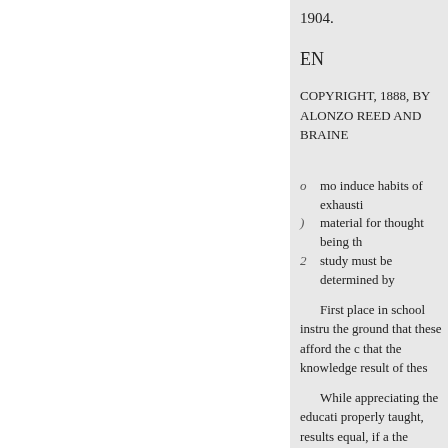1904.
EN
COPYRIGHT, 1888, BY
ALONZO REED AND BRAINE
mo induce habits of exhausti
material for thought being th
study must be determined by
First place in school instru the ground that these afford the c that the knowledge result of thes
While appreciating the educati properly taught, results equal, if a the knowledge accumulated.
To depreci all systematic study unproductive is as unwise as it w improperly presented as a series
Grammar should be learned from sometimes mischievous and mish